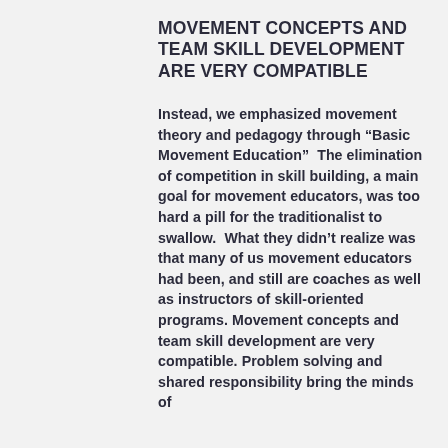MOVEMENT CONCEPTS AND TEAM SKILL DEVELOPMENT ARE VERY COMPATIBLE
Instead, we emphasized movement theory and pedagogy through “Basic Movement Education”  The elimination of competition in skill building, a main goal for movement educators, was too hard a pill for the traditionalist to swallow.  What they didn’t realize was that many of us movement educators had been, and still are coaches as well as instructors of skill-oriented programs. Movement concepts and team skill development are very compatible. Problem solving and shared responsibility bring the minds of